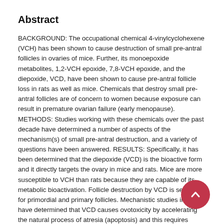Abstract
BACKGROUND: The occupational chemical 4-vinylcyclohexene (VCH) has been shown to cause destruction of small pre-antral follicles in ovaries of mice. Further, its monoepoxide metabolites, 1,2-VCH epoxide, 7,8-VCH epoxide, and the diepoxide, VCD, have been shown to cause pre-antral follicle loss in rats as well as mice. Chemicals that destroy small pre-antral follicles are of concern to women because exposure can result in premature ovarian failure (early menopause). METHODS: Studies working with these chemicals over the past decade have determined a number of aspects of the mechanism(s) of small pre-antral destruction, and a variety of questions have been answered. RESULTS: Specifically, it has been determined that the diepoxide (VCD) is the bioactive form and it directly targets the ovary in mice and rats. Mice are more susceptible to VCH than rats because they are capable of its metabolic bioactivation. Follicle destruction by VCD is selective for primordial and primary follicles. Mechanistic studies in rats have determined that VCD causes ovotoxicity by accelerating the natural process of atresia (apoptosis) and this requires repeated exposures. Pro-apoptotic signaling events in the Bcl-2 and mitogen